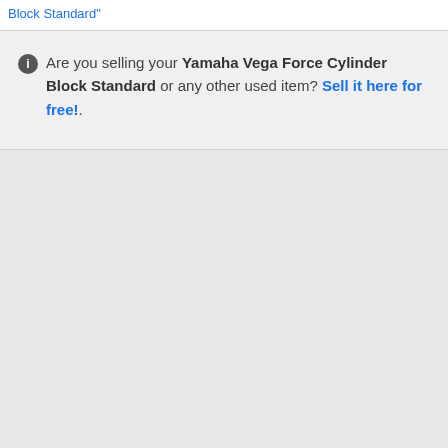Block Standard"
ℹ Are you selling your Yamaha Vega Force Cylinder Block Standard or any other used item? Sell it here for free!.